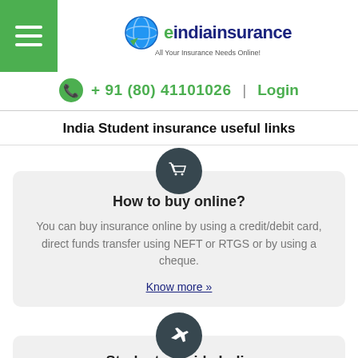indiainsurance — All Your Insurance Needs Online! +91 (80) 41101026 | Login
India Student insurance useful links
[Figure (infographic): Card with shopping cart icon: How to buy online? — You can buy insurance online by using a credit/debit card, direct funds transfer using NEFT or RTGS or by using a cheque. Know more »]
[Figure (infographic): Card with airplane icon: Student outside India]